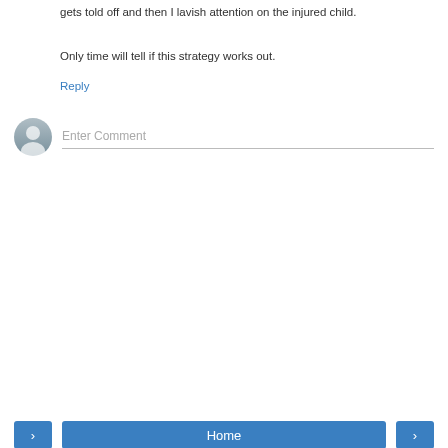gets told off and then I lavish attention on the injured child.
Only time will tell if this strategy works out.
Reply
[Figure (other): Comment input field with avatar placeholder and 'Enter Comment' placeholder text]
[Figure (other): Navigation bar with left arrow button, Home button, and right arrow button, plus 'View web version' link]